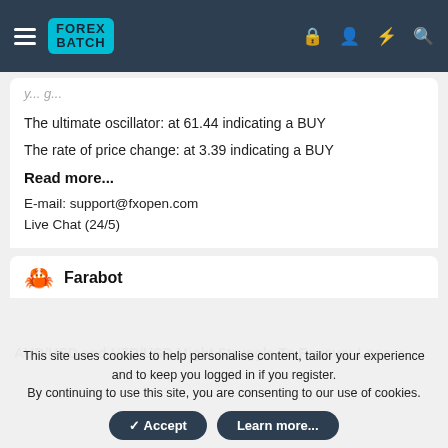FOREX BATCH
The ultimate oscillator: at 61.44 indicating a BUY
The rate of price change: at 3.39 indicating a BUY
Read more...
E-mail: support@fxopen.com
Live Chat (24/5)
Farabot
This site uses cookies to help personalise content, tailor your experience and to keep you logged in if you register.
By continuing to use this site, you are consenting to our use of cookies.
AUD/USD and NZD/USD Might Struggle To Recover Losses